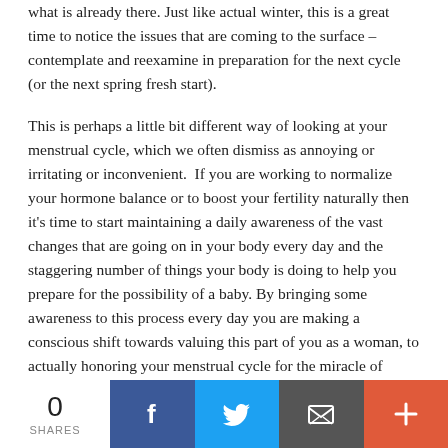what is already there. Just like actual winter, this is a great time to notice the issues that are coming to the surface – contemplate and reexamine in preparation for the next cycle (or the next spring fresh start).
This is perhaps a little bit different way of looking at your menstrual cycle, which we often dismiss as annoying or irritating or inconvenient.  If you are working to normalize your hormone balance or to boost your fertility naturally then it's time to start maintaining a daily awareness of the vast changes that are going on in your body every day and the staggering number of things your body is doing to help you prepare for the possibility of a baby. By bringing some awareness to this process every day you are making a conscious shift towards valuing this part of you as a woman, to actually honoring your menstrual cycle for the miracle of natural fertility that it is. Today, say thanks for your natural
0 SHARES | Facebook | Twitter | Email | More